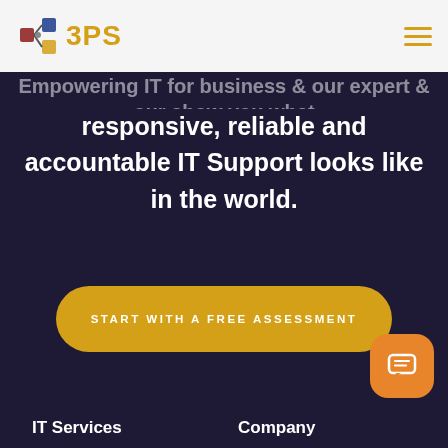[Figure (logo): 3PS company logo with geometric icon and gold text '3PS']
responsive, reliable and accountable IT Support looks like in the world.
START WITH A FREE ASSESSMENT
[Figure (other): Orange chat bubble/messenger icon button in bottom right corner]
IT Services
Company